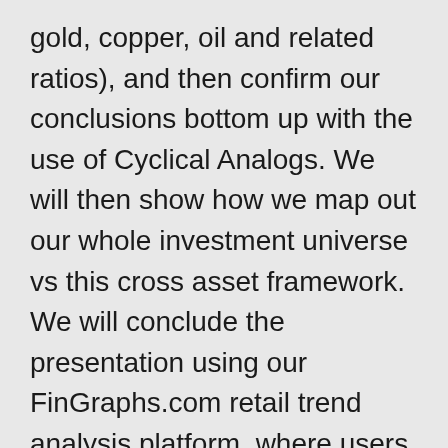gold, copper, oil and related ratios), and then confirm our conclusions bottom up with the use of Cyclical Analogs. We will then show how we map out our whole investment universe vs this cross asset framework. We will conclude the presentation using our FinGraphs.com retail trend analysis platform, where users can upload market mosaics comprising up to 16 streaming graphs from all asset classes, for intraday and intrahour cross asset monitoring.
Jean-François Owczarczak is the CEO and Chief Investment Officer of Management Joint Trust SA, a company founded in 1969 in